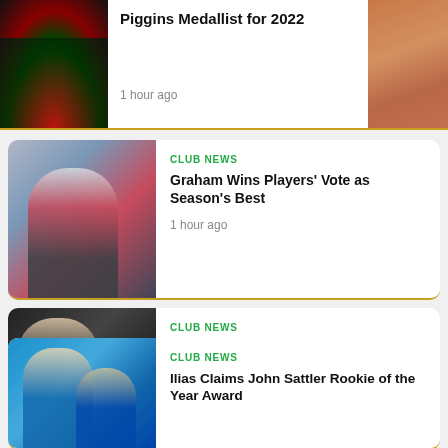[Figure (photo): Top banner card showing rugby jersey/flag with white overlay text area and skin-toned area on right]
Piggins Medallist for 2022
1 hour ago
[Figure (photo): Rugby player in red and green South Sydney Rabbitohs jersey running with ball]
CLUB NEWS
Graham Wins Players' Vote as Season's Best
1 hour ago
[Figure (photo): Two men in dark suits, one smiling in foreground]
CLUB NEWS
Jacob Host Wins Bob McCarthy Clubman of the Year Award
1 hour ago
[Figure (photo): Two people in blue background setting]
CLUB NEWS
Ilias Claims John Sattler Rookie of the Year Award